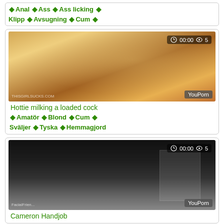🏷 Anal 🏷 Ass 🏷 Ass licking 🏷 Klipp 🏷 Avsugning 🏷 Cum 🏷
[Figure (photo): Video thumbnail showing a woman in a room, with overlay showing 00:00 and view count 5, YouPorn watermark]
Hottie milking a loaded cock
🏷 Amatör 🏷 Blond 🏷 Cum 🏷 Sväljer 🏷 Tyska 🏷 Hemmagjord
[Figure (photo): Video thumbnail showing a dark room with a bookshelf, with overlay showing 00:00 and view count 5, YouPorn and FacialFriend watermarks]
Cameron Handjob